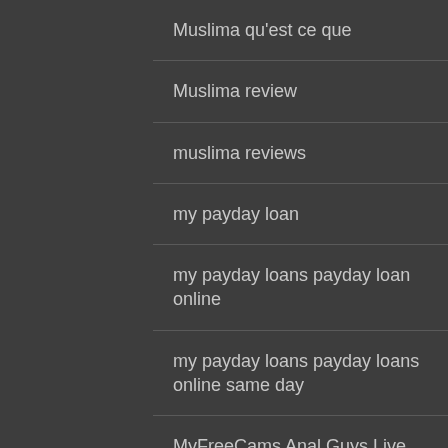Muslima qu'est ce que
Muslima review
muslima reviews
my payday loan
my payday loans payday loan online
my payday loans payday loans online same day
MyFreeCams Anal Guys Live Web Cam Chat
MyFreeCams Anal